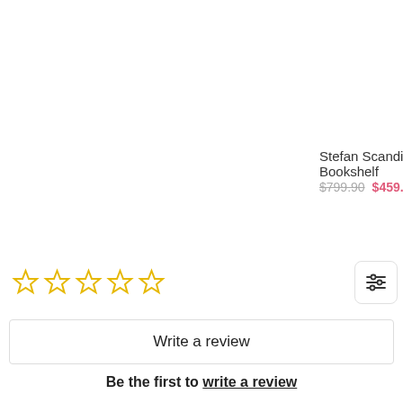Stefan Scandi-I... Bookshelf
$799.90  $459.9...
[Figure (other): Five empty star rating icons in yellow/gold outline]
[Figure (other): Filter/sort icon button with three horizontal sliders]
Write a review
Be the first to write a review